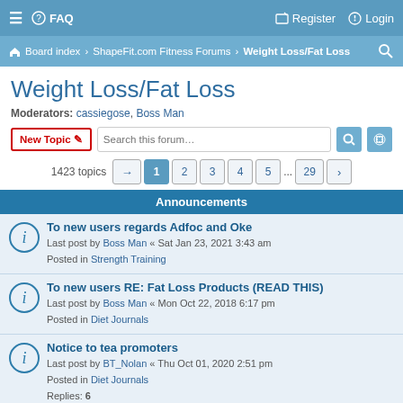≡  FAQ    Register  Login
Board index · ShapeFit.com Fitness Forums · Weight Loss/Fat Loss
Weight Loss/Fat Loss
Moderators: cassiegose, Boss Man
New Topic  Search this forum…  1423 topics  1 2 3 4 5 … 29
Announcements
To new users regards Adfoc and Oke
Last post by Boss Man « Sat Jan 23, 2021 3:43 am
Posted in Strength Training
To new users RE: Fat Loss Products (READ THIS)
Last post by Boss Man « Mon Oct 22, 2018 6:17 pm
Posted in Diet Journals
Notice to tea promoters
Last post by BT_Nolan « Thu Oct 01, 2020 2:51 pm
Posted in Diet Journals
Replies: 6
Survey Posting Please Read
Last post by Boss Man « Mon Mar 30, 2015 6:58 am
Posted in Strength Training